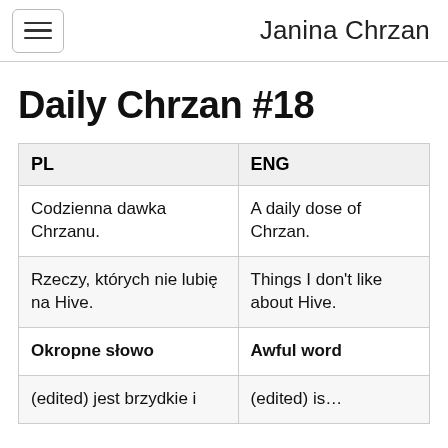Janina Chrzan
Daily Chrzan #18
| PL | ENG |
| --- | --- |
| Codzienna dawka Chrzanu. | A daily dose of Chrzan. |
| Rzeczy, których nie lubię na Hive. | Things I don't like about Hive. |
| Okropne słowo | Awful word |
| (edited) jest brzydkie i | (edited) is… |